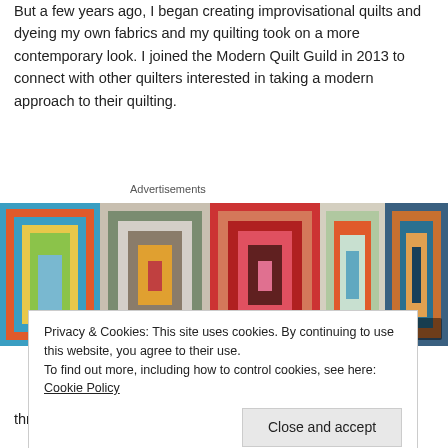But a few years ago, I began creating improvisational quilts and dyeing my own fabrics and my quilting took on a more contemporary look. I joined the Modern Quilt Guild in 2013 to connect with other quilters interested in taking a modern approach to their quilting.
Advertisements
[Figure (photo): Colorful quilt image with concentric squares in various vibrant colors. Watermark reads: penny lane quilts]
Privacy & Cookies: This site uses cookies. By continuing to use this website, you agree to their use.
To find out more, including how to control cookies, see here: Cookie Policy
[Close and accept button]
thrilled and a little overwhelmed to discover that my quilt,